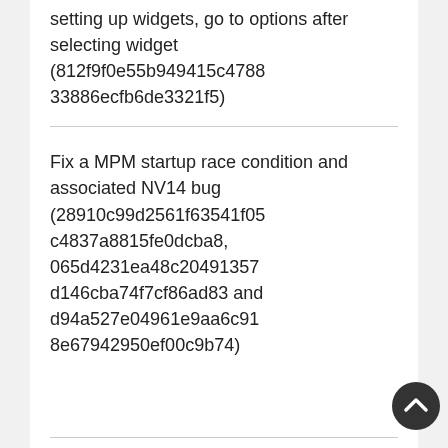setting up widgets, go to options after selecting widget (812f9f0e55b949415c478833886ecfb6de3321f5)
Fix a MPM startup race condition and associated NV14 bug (28910c99d2561f63541f05c4837a8815fe0dcba8, 065d4231ea48c20491357d146cba74f7cf86ad83 and d94a527e04961e9aa6c918e67942950ef00c9b74)